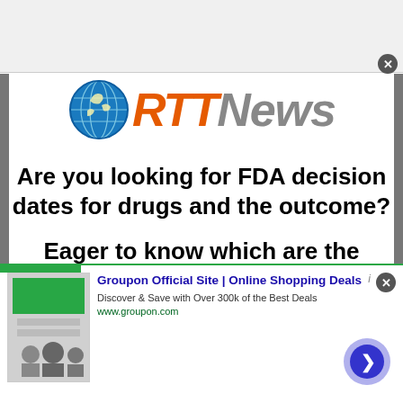[Figure (logo): RTT News logo with globe icon, orange italic RTT and gray italic News text]
Are you looking for FDA decision dates for drugs and the outcome?
Eager to know which are the regulatory catalysts pending?
[Figure (screenshot): Groupon Official Site advertisement banner with image, title, description and URL www.groupon.com]